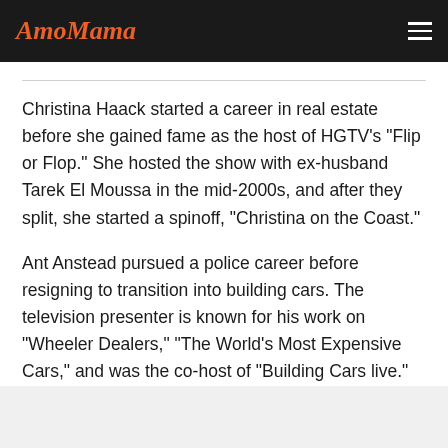AmoMama
Christina Haack started a career in real estate before she gained fame as the host of HGTV's "Flip or Flop." She hosted the show with ex-husband Tarek El Moussa in the mid-2000s, and after they split, she started a spinoff, "Christina on the Coast."
Ant Anstead pursued a police career before resigning to transition into building cars. The television presenter is known for his work on "Wheeler Dealers," "The World's Most Expensive Cars," and was the co-host of "Building Cars live."